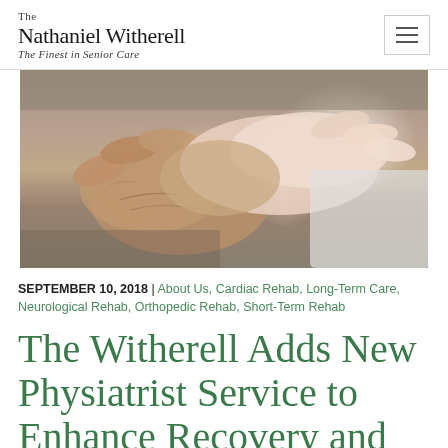The Nathaniel Witherell — The Finest in Senior Care
[Figure (photo): Close-up photo of a younger hand gently holding an elderly person's wrinkled hand, suggesting care and support.]
SEPTEMBER 10, 2018 | About Us, Cardiac Rehab, Long-Term Care, Neurological Rehab, Orthopedic Rehab, Short-Term Rehab
The Witherell Adds New Physiatrist Service to Enhance Recovery and Well